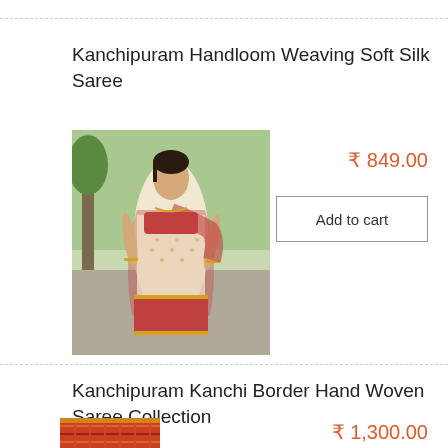Kanchipuram Handloom Weaving Soft Silk Saree
[Figure (photo): Woman wearing a cream and red Kanchipuram silk saree with gold border, standing outdoors]
₹ 849.00
Add to cart
Kanchipuram Kanchi Border Hand Woven Saree Collection
[Figure (photo): Folded orange/red Kanchipuram saree with woven border pattern]
₹ 1,300.00